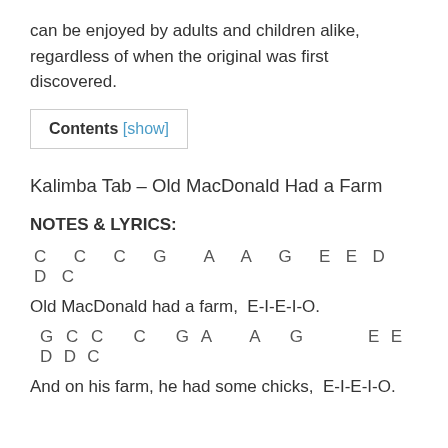can be enjoyed by adults and children alike, regardless of when the original was first discovered.
| Contents [show] |
Kalimba Tab – Old MacDonald Had a Farm
NOTES & LYRICS:
C  C  C  G   A  A  G  E E D DC
Old MacDonald had a farm,  E-I-E-I-O.
G C C   C  G A   A  G       E E D DC
And on his farm, he had some chicks,  E-I-E-I-O.